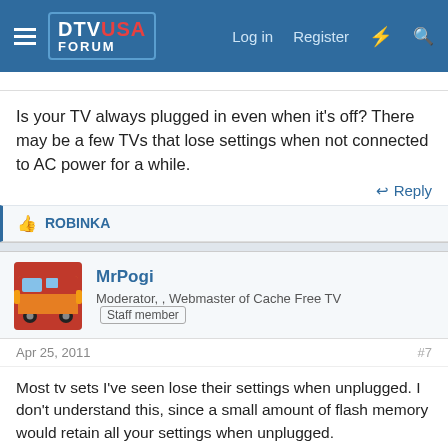DTV USA FORUM — Log in  Register
Is your TV always plugged in even when it's off? There may be a few TVs that lose settings when not connected to AC power for a while.
↩ Reply
👍 ROBINKA
MrPogi
Moderator, , Webmaster of Cache Free TV  [Staff member]
Apr 25, 2011   #7
Most tv sets I've seen lose their settings when unplugged. I don't understand this, since a small amount of flash memory would retain all your settings when unplugged.
It made sense when the TV needed to be plugged in to pre heat the CRT for "instant on". I can think of no good reason why TV